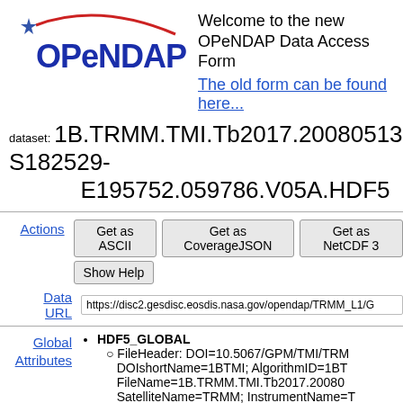[Figure (logo): OPeNDAP logo with red arc and blue star]
Welcome to the new OPeNDAP Data Access Form
The old form can be found here...
dataset: 1B.TRMM.TMI.Tb2017.20080513-S182529-E195752.059786.V05A.HDF5
Actions
Get as ASCII | Get as CoverageJSON | Get as NetCDF 3 | Show Help
Data URL
https://disc2.gesdisc.eosdis.nasa.gov/opendap/TRMM_L1/G
Global Attributes
HDF5_GLOBAL
FileHeader: DOI=10.5067/GPM/TMI/TRM... DOIshortName=1BTMI; AlgorithmID=1BT... FileName=1B.TRMM.TMI.Tb2017.20080... SatelliteName=TRMM; InstrumentName=T... 04T16:14:55.000Z; StartGranuleDateTime=... StopGranuleDateTime=2008-05-13T19:57: